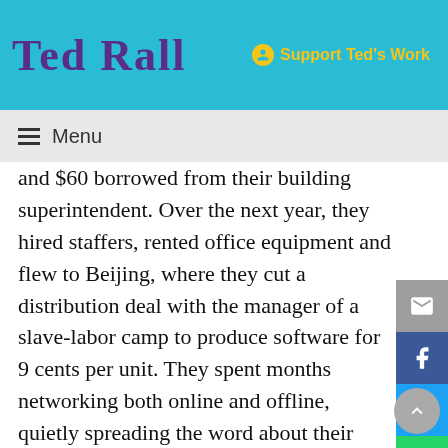Ted Rall — Support Ted's Work
Menu
and $60 borrowed from their building superintendent. Over the next year, they hired staffers, rented office equipment and flew to Beijing, where they cut a distribution deal with the manager of a slave-labor camp to produce software for 9 cents per unit. They spent months networking both online and offline, quietly spreading the word about their new venture. “The buzz was really something,” says Kelly Hershaw, a former staff writer for geek.com, a site that called Cyber2000 “the